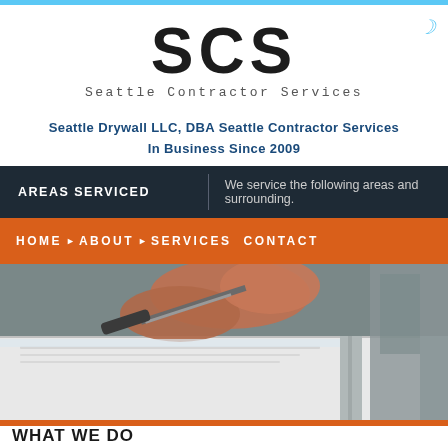[Figure (logo): SCS Seattle Contractor Services logo with large bold SCS text and subtitle]
Seattle Drywall LLC, DBA Seattle Contractor Services
In Business Since 2009
AREAS SERVICED
We service the following areas and surrounding.
HOME  ABOUT  SERVICES  CONTACT
[Figure (photo): Close-up photo of hands using a tool on drywall/plastering work]
WHAT WE DO